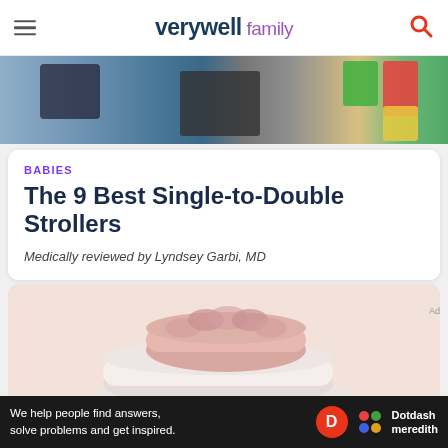verywell family
[Figure (photo): Partial top image showing strollers and colorful storage bins in a room]
BABIES
The 9 Best Single-to-Double Strollers
Medically reviewed by Lyndsey Garbi, MD
[Figure (photo): Stack of pillows on a light pink background — pink ruffled pillow on top, two white pillows below]
We help people find answers, solve problems and get inspired.
[Figure (logo): Dotdash Meredith logo with red D circle and colorful dots]